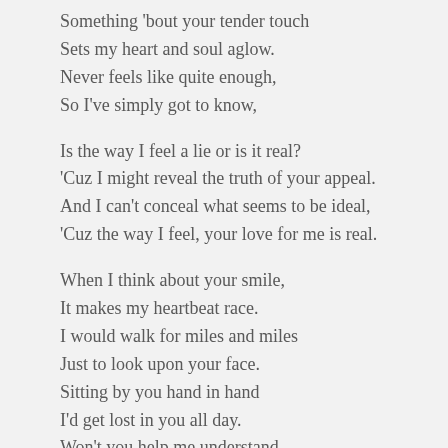Something 'bout your tender touch
Sets my heart and soul aglow.
Never feels like quite enough,
So I've simply got to know,
Is the way I feel a lie or is it real?
'Cuz I might reveal the truth of your appeal.
And I can't conceal what seems to be ideal,
'Cuz the way I feel, your love for me is real.
When I think about your smile,
It makes my heartbeat race.
I would walk for miles and miles
Just to look upon your face.
Sitting by you hand in hand
I'd get lost in you all day.
Won't you help me understand
If you're feeling the same way?
Is the way I feel a lie or is it real?